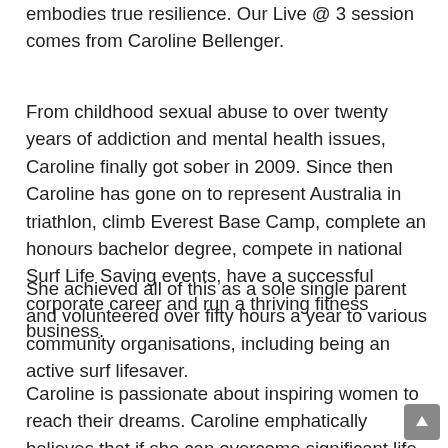embodies true resilience. Our Live @ 3 session comes from Caroline Bellenger.
From childhood sexual abuse to over twenty years of addiction and mental health issues, Caroline finally got sober in 2009. Since then Caroline has gone on to represent Australia in triathlon, climb Everest Base Camp, complete an honours bachelor degree, compete in national Surf Life Saving events, have a successful corporate career and run a thriving fitness business.
She achieved all of this as a sole single parent and volunteered over fifty hours a year to various community organisations, including being an active surf lifesaver.
Caroline is passionate about inspiring women to reach their dreams. Caroline emphatically believes that if she can overcome significant life obstacles, then any woman given support and encouragement can achieve the Impossible. Her